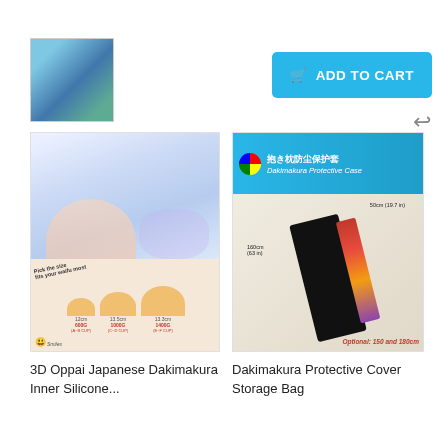[Figure (photo): Small product thumbnail image of anime figure in teal/green costume]
[Figure (screenshot): Blue 'ADD TO CART' button with shopping cart icon]
[Figure (photo): 3D Oppai Japanese Dakimakura product image showing anime pillow top and size comparison chart with 600G, 1000G, 1400G cup options]
3D Oppai Japanese Dakimakura Inner Silicone...
[Figure (photo): Dakimakura Protective Case product image showing black storage bag with anime pillow inside, labeled with dimensions 50cm and 160cm, Optional text at bottom]
Dakimakura Protective Cover Storage Bag